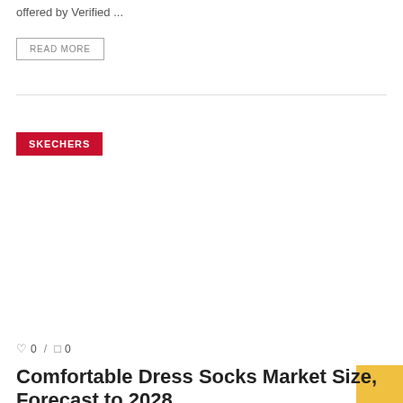offered by Verified ...
READ MORE
SKECHERS
0 / 0
Comfortable Dress Socks Market Size, Forecast to 2028